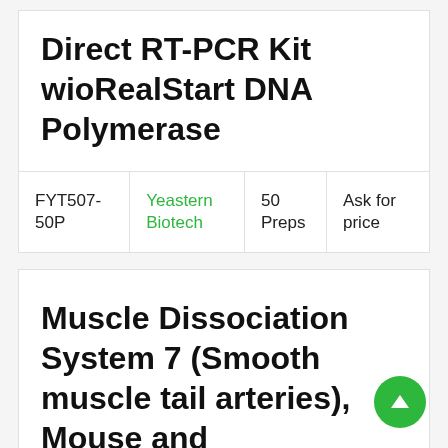Direct RT-PCR Kit wioRealStart DNA Polymerase
|  |  |  |  |
| --- | --- | --- | --- |
| FYT507-50P | Yeastern Biotech | 50 Preps | Ask for price |
Muscle Dissociation System 7 (Smooth muscle tail arteries), Mouse and